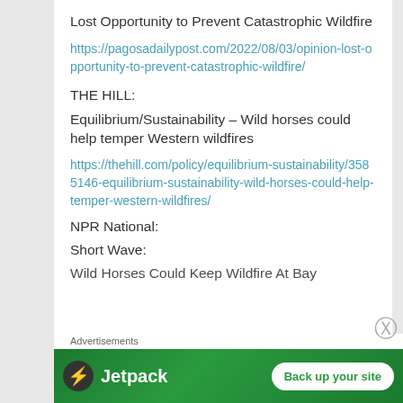Lost Opportunity to Prevent Catastrophic Wildfire
https://pagosadailypost.com/2022/08/03/opinion-lost-opportunity-to-prevent-catastrophic-wildfire/
THE HILL:
Equilibrium/Sustainability – Wild horses could help temper Western wildfires
https://thehill.com/policy/equilibrium-sustainability/3585146-equilibrium-sustainability-wild-horses-could-help-temper-western-wildfires/
NPR National:
Short Wave:
Wild Horses Could Keep Wildfire At Bay
Advertisements
[Figure (infographic): Jetpack advertisement banner with logo and 'Back up your site' button]